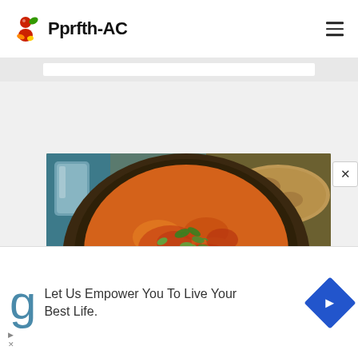Pprfth-AC
[Figure (photo): A dark clay bowl filled with a tomato-based stew topped with fresh green herbs, surrounded by rustic flatbreads and a glass of water on a blue wooden surface]
Let Us Empower You To Live Your Best Life.